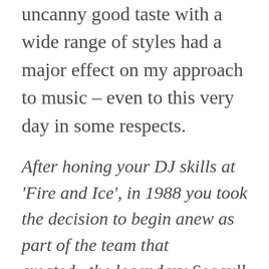uncanny good taste with a wide range of styles had a major effect on my approach to music – even to this very day in some respects.
After honing your DJ skills at 'Fire and Ice', in 1988 you took the decision to begin anew as part of the team that created   the legendary Seagull Beachfront Resort Hotel, aka the 'Kitch...